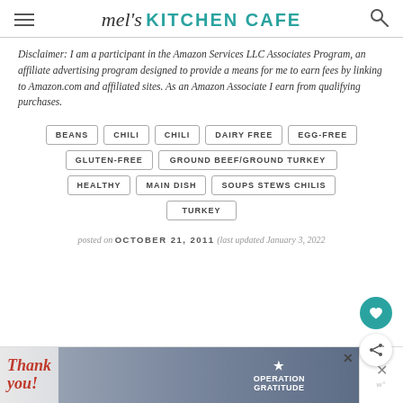mel's KITCHEN CAFE
Disclaimer: I am a participant in the Amazon Services LLC Associates Program, an affiliate advertising program designed to provide a means for me to earn fees by linking to Amazon.com and affiliated sites. As an Amazon Associate I earn from qualifying purchases.
BEANS
CHILI
CHILI
DAIRY FREE
EGG-FREE
GLUTEN-FREE
GROUND BEEF/GROUND TURKEY
HEALTHY
MAIN DISH
SOUPS STEWS CHILIS
TURKEY
posted on OCTOBER 21, 2011 (last updated January 3, 2022
[Figure (photo): Advertisement banner with 'Thank you!' text and Operation Gratitude military imagery]